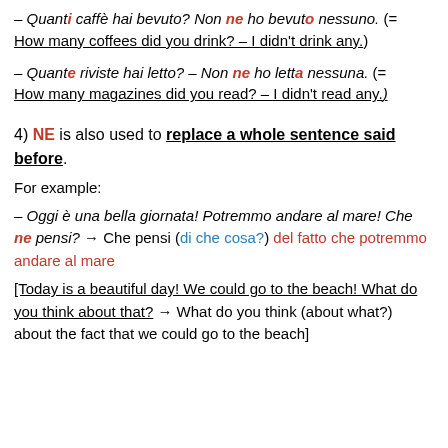– Quanti caffè hai bevuto? Non ne ho bevuto nessuno. (= How many coffees did you drink? – I didn't drink any.)
– Quante riviste hai letto? – Non ne ho letta nessuna. (= How many magazines did you read? – I didn't read any.)
4) NE is also used to replace a whole sentence said before.
For example:
– Oggi è una bella giornata! Potremmo andare al mare! Che ne pensi? → Che pensi (di che cosa?) del fatto che potremmo andare al mare
[Today is a beautiful day! We could go to the beach! What do you think about that? → What do you think (about what?) about the fact that we could go to the beach]